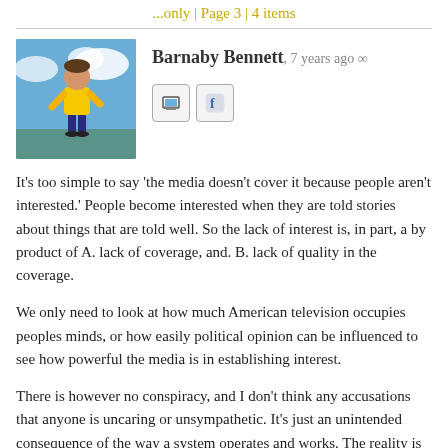...only | Page 3 | 4 items
[Figure (photo): Avatar photo of Barnaby Bennett - person in yellow shirt standing outdoors with blue sky background]
Barnaby Bennett, 7 years ago
It's too simple to say 'the media doesn't cover it because people aren't interested.' People become interested when they are told stories about things that are told well. So the lack of interest is, in part, a by product of A. lack of coverage, and. B. lack of quality in the coverage.
We only need to look at how much American television occupies peoples minds, or how easily political opinion can be influenced to see how powerful the media is in establishing interest.
There is however no conspiracy, and I don't think any accusations that anyone is uncaring or unsympathetic. It's just an unintended consequence of the way a system operates and works. The reality is that most of the population, most of the advertisers and most of the media makers are based in Auckland, and so perhaps inevitably other